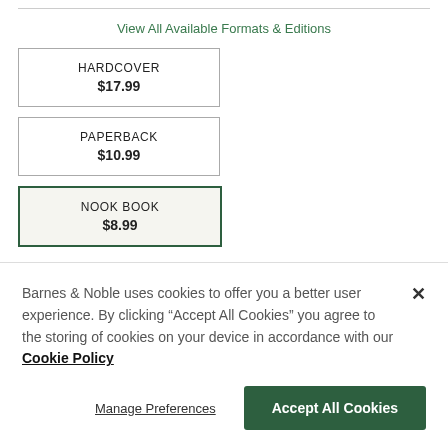View All Available Formats & Editions
| HARDCOVER
$17.99 | PAPERBACK
$10.99 |
| NOOK BOOK
$8.99 |  |
NOOK BOOK (EBOOK)
$8.99
Barnes & Noble uses cookies to offer you a better user experience. By clicking "Accept All Cookies" you agree to the storing of cookies on your device in accordance with our Cookie Policy
Manage Preferences
Accept All Cookies